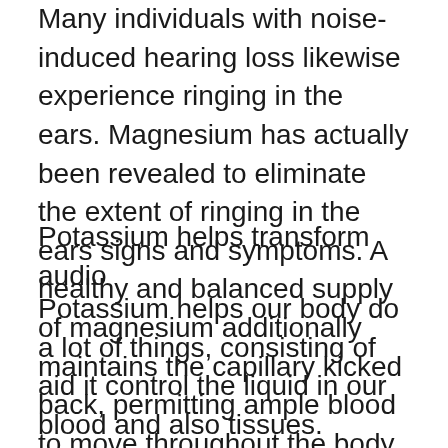Many individuals with noise-induced hearing loss likewise experience ringing in the ears. Magnesium has actually been revealed to eliminate the extent of ringing in the ears signs and symptoms. A healthy and balanced supply of magnesium additionally maintains the capillary kicked back, permitting ample blood to move throughout the body, consisting of via the vessels in the inner ear.
Potassium helps transform audio
Potassium helps our body do a lot of things, consisting of aid it control the liquid in our blood and also tissues. Researchers have discovered the fluid in our inner ear needs potassium as part of its crucial procedure of converting noise right into nerve impulses